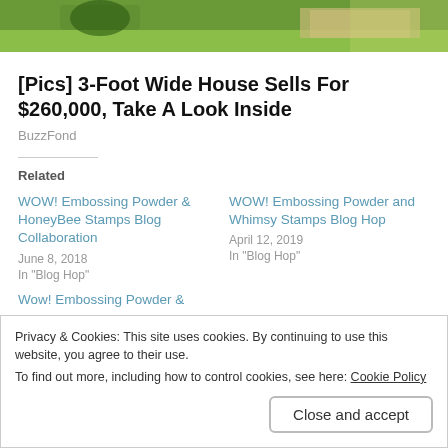[Figure (photo): Partial view of a house exterior with green lawn, walkway, and landscaping with mulch beds]
[Pics] 3-Foot Wide House Sells For $260,000, Take A Look Inside
BuzzFond
Related
WOW! Embossing Powder & HoneyBee Stamps Blog Collaboration
June 8, 2018
In "Blog Hop"
WOW! Embossing Powder and Whimsy Stamps Blog Hop
April 12, 2019
In "Blog Hop"
Wow! Embossing Powder &
Privacy & Cookies: This site uses cookies. By continuing to use this website, you agree to their use.
To find out more, including how to control cookies, see here: Cookie Policy
Close and accept